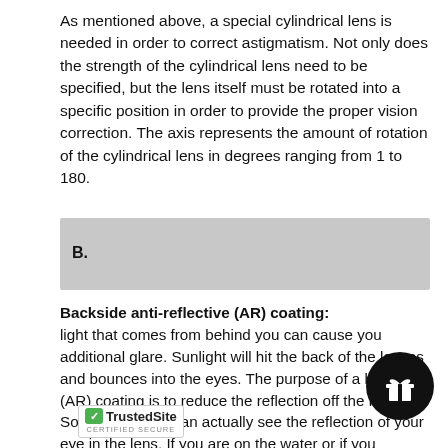As mentioned above, a special cylindrical lens is needed in order to correct astigmatism. Not only does the strength of the cylindrical lens need to be specified, but the lens itself must be rotated into a specific position in order to provide the proper vision correction. The axis represents the amount of rotation of the cylindrical lens in degrees ranging from 1 to 180.
B.
Backside anti-reflective (AR) coating:
light that comes from behind you can cause you additional glare. Sunlight will hit the back of the lenses and bounces into the eyes. The purpose of a backside (AR) coating is to reduce the reflection off the lenses. Sometimes, you can actually see the reflection of your eye in the lens. If you are on the water or if you sunglasses do not fit snugly against your face the will reflect off your lenses and back into your eye. highly reco side AR in these circumstan